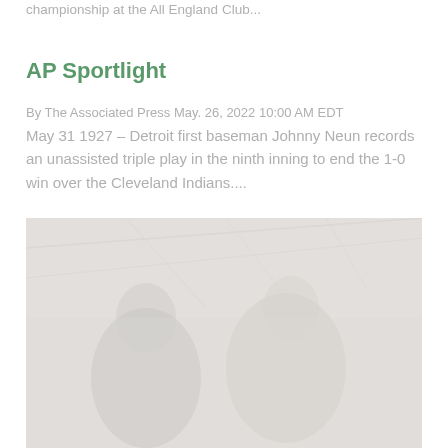championship at the All England Club...
AP Sportlight
By The Associated Press May. 26, 2022 10:00 AM EDT
May 31 1927 – Detroit first baseman Johnny Neun records an unassisted triple play in the ninth inning to end the 1-0 win over the Cleveland Indians....
[Figure (photo): Faded photograph of people at what appears to be a sports or entertainment venue, with a glass ceiling visible in the background. People in foreground appear to be holding instruments or equipment.]